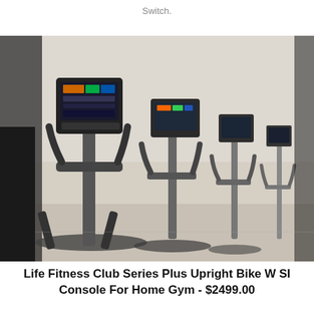Switch.
[Figure (photo): Row of exercise bikes and elliptical machines in a gym, showing handlebars and digital console screens, photographed from the front-left angle. Equipment appears to be Life Fitness commercial grade in a fitness facility.]
Life Fitness Club Series Plus Upright Bike W SI Console For Home Gym - $2499.00